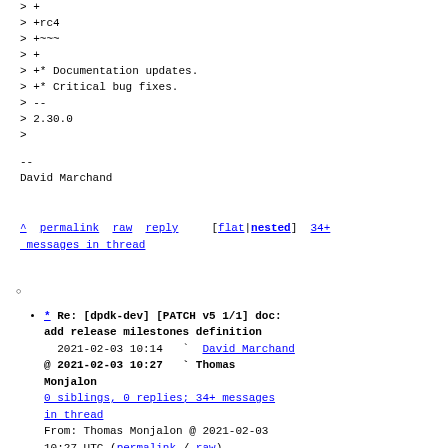> +
> +rc4
> +~~~
> +
> +* Documentation updates.
> +* Critical bug fixes.
> --
> 2.30.0
>
--
David Marchand
^ permalink raw reply  [flat|nested] 34+ messages in thread
* Re: [dpdk-dev] [PATCH v5 1/1] doc: add release milestones definition
2021-02-03 10:14  ` David Marchand
@ 2021-02-03 10:27  ` Thomas Monjalon
0 siblings, 0 replies; 34+ messages in thread
From: Thomas Monjalon @ 2021-02-03 10:27 UTC (permalink / raw)
To: David Marchand
Cc: dev, Asaf Penso, John McNamara